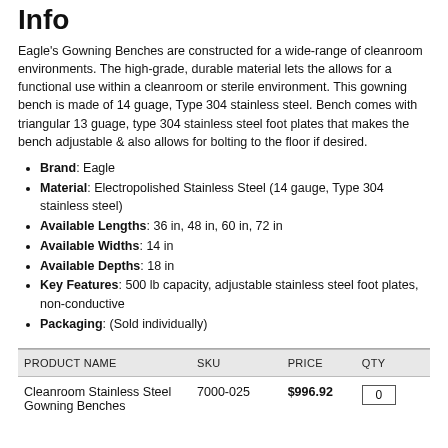Info
Eagle's Gowning Benches are constructed for a wide-range of cleanroom environments. The high-grade, durable material lets the allows for a functional use within a cleanroom or sterile environment. This gowning bench is made of 14 guage, Type 304 stainless steel. Bench comes with triangular 13 guage, type 304 stainless steel foot plates that makes the bench adjustable & also allows for bolting to the floor if desired.
Brand: Eagle
Material: Electropolished Stainless Steel (14 gauge, Type 304 stainless steel)
Available Lengths: 36 in, 48 in, 60 in, 72 in
Available Widths: 14 in
Available Depths: 18 in
Key Features: 500 lb capacity, adjustable stainless steel foot plates, non-conductive
Packaging: (Sold individually)
| PRODUCT NAME | SKU | PRICE | QTY |
| --- | --- | --- | --- |
| Cleanroom Stainless Steel Gowning Benches | 7000-025 | $996.92 | 0 |